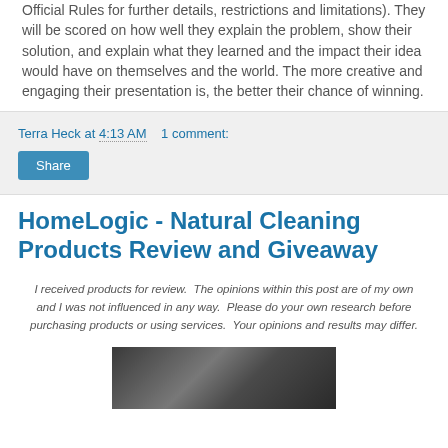Official Rules for further details, restrictions and limitations). They will be scored on how well they explain the problem, show their solution, and explain what they learned and the impact their idea would have on themselves and the world. The more creative and engaging their presentation is, the better their chance of winning.
Terra Heck at 4:13 AM   1 comment:
Share
HomeLogic - Natural Cleaning Products Review and Giveaway
I received products for review.  The opinions within this post are of my own and I was not influenced in any way.  Please do your own research before purchasing products or using services.  Your opinions and results may differ.
[Figure (photo): Dark photo of cleaning products]